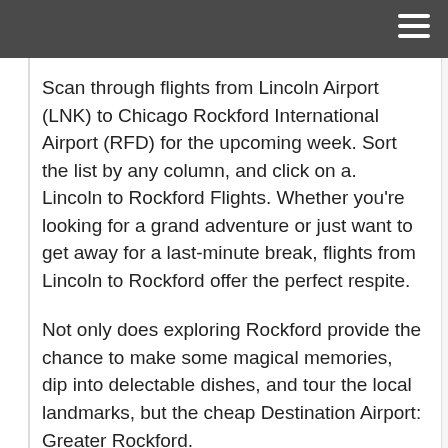Scan through flights from Lincoln Airport (LNK) to Chicago Rockford International Airport (RFD) for the upcoming week. Sort the list by any column, and click on a. Lincoln to Rockford Flights. Whether you're looking for a grand adventure or just want to get away for a last-minute break, flights from Lincoln to Rockford offer the perfect respite.
Not only does exploring Rockford provide the chance to make some magical memories, dip into delectable dishes, and tour the local landmarks, but the cheap Destination Airport: Greater Rockford.
Compare airfares and find cheap direct flights and round trip flights to Rockford, Chicago Rockford International Airport (RFD) From Lincoln (LNK). Airline ticket deals to Rockford, Chicago Rockford